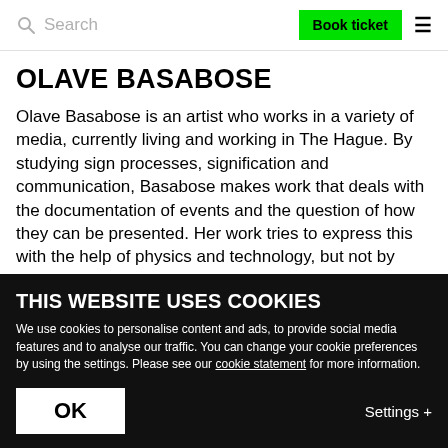Search | Book ticket
OLAVE BASABOSE
Olave Basabose is an artist who works in a variety of media, currently living and working in The Hague. By studying sign processes, signification and communication, Basabose makes work that deals with the documentation of events and the question of how they can be presented. Her work tries to express this with the help of physics and technology, but not by telling a story or creating a
THIS WEBSITE USES COOKIES
We use cookies to personalise content and ads, to provide social media features and to analyse our traffic. You can change your cookie preferences by using the settings. Please see our cookie statement for more information.
OK
Settings +